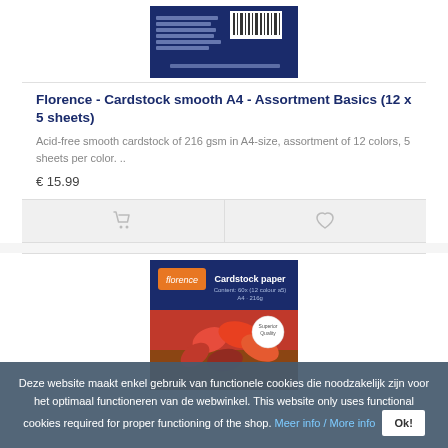[Figure (photo): Florence cardstock product package image on dark blue background with barcode]
Florence - Cardstock smooth A4 - Assortment Basics (12 x 5 sheets)
Acid-free smooth cardstock of 216 gsm in A4-size, assortment of 12 colors, 5 sheets per color. ..
€ 15.99
[Figure (photo): Florence Cardstock paper product with autumn leaves design, orange badge, dark blue packaging]
Deze website maakt enkel gebruik van functionele cookies die noodzakelijk zijn voor het optimaal functioneren van de webwinkel. This website only uses functional cookies required for proper functioning of the shop. Meer info / More info Ok!